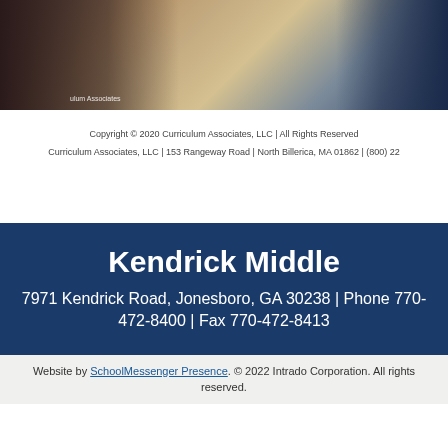[Figure (photo): Photo of students working together, cropped at top, with a watermark reading 'ulum Associates' partially visible at bottom left]
Copyright © 2020 Curriculum Associates, LLC | All Rights Reserved
Curriculum Associates, LLC | 153 Rangeway Road | North Billerica, MA 01862 | (800) 22
Kendrick Middle
7971 Kendrick Road, Jonesboro, GA 30238 | Phone 770-472-8400 | Fax 770-472-8413
Website by SchoolMessenger Presence. © 2022 Intrado Corporation. All rights reserved.